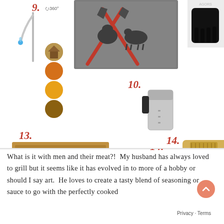[Figure (photo): Collage of numbered BBQ/grilling products: 9. flexible LED grill light with 360° rotation and small circular lifestyle photos; 10. chimney charcoal starter; 11. MEAT cookbook with cooked bone-in steak on cover; 12. Weber kettle charcoal grill; 13. wooden carving board with meat claws/forks; 14. wooden grill scraper/spatula; also a BBQ-themed mat/rug with crossed spatulas and meat utensils on grey background, and black bear claw meat shredders (top right).]
What is it with men and their meat?!  My husband has always loved to grill but it seems like it has evolved in to more of a hobby or should I say art.  He loves to create a tasty blend of seasoning or sauce to go with the perfectly cooked